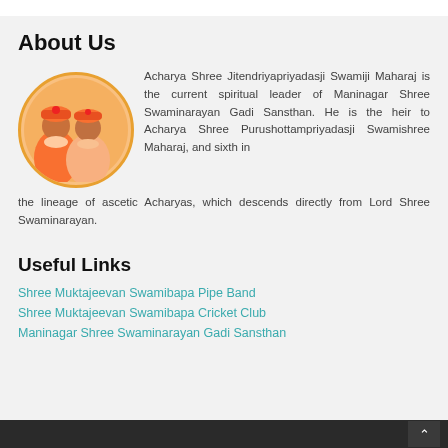About Us
[Figure (photo): Two men in orange robes and turbans, circular framed photo]
Acharya Shree Jitendriyapriyadasji Swamiji Maharaj is the current spiritual leader of Maninagar Shree Swaminarayan Gadi Sansthan. He is the heir to Acharya Shree Purushottampriyadasji Swamishree Maharaj, and sixth in the lineage of ascetic Acharyas, which descends directly from Lord Shree Swaminarayan.
Useful Links
Shree Muktajeevan Swamibapa Pipe Band
Shree Muktajeevan Swamibapa Cricket Club
Maninagar Shree Swaminarayan Gadi Sansthan